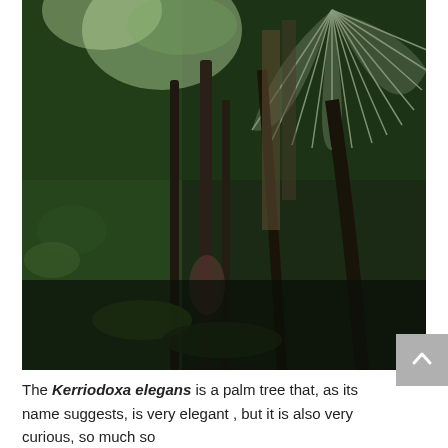[Figure (photo): A photograph of a Kerriodoxa elegans palm tree in a tropical forest setting. The image shows tall, slender dark stems rising upward, with a large fan-shaped palm leaf visible in the upper right portion of the frame. The background contains dense green tropical vegetation. The photo is taken from a low angle looking upward.]
The Kerriodoxa elegans is a palm tree that, as its name suggests, is very elegant , but it is also very curious, so much so